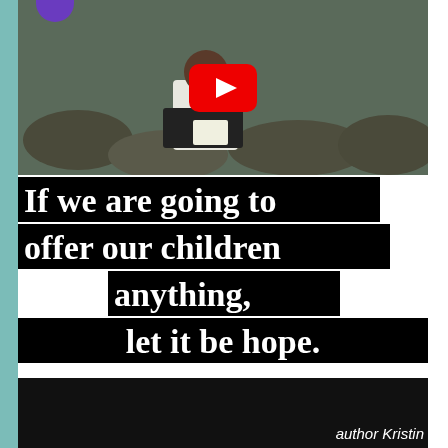[Figure (screenshot): YouTube video thumbnail showing a man in a white shirt sitting against rocks, reading a letter. A red YouTube play button is overlaid in the center.]
If we are going to offer our children anything, let it be hope.
author Kristin